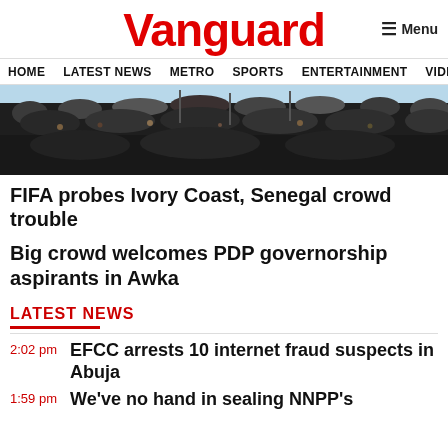Vanguard
Menu
HOME  LATEST NEWS  METRO  SPORTS  ENTERTAINMENT  VIDEOS
[Figure (photo): Large crowd of people in a stadium or outdoor venue, densely packed, black and white tones with sky visible at top]
FIFA probes Ivory Coast, Senegal crowd trouble
Big crowd welcomes PDP governorship aspirants in Awka
LATEST NEWS
2:02 pm  EFCC arrests 10 internet fraud suspects in Abuja
1:59 pm  We've no hand in sealing NNPP's ...